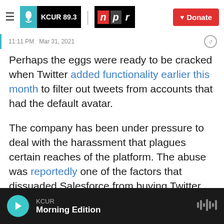KCUR 89.3 | npr | Donate
11:11 PM  Mar 31, 2017
Perhaps the eggs were ready to be cracked when Twitter added functionality earlier this month to filter out tweets from accounts that had the default avatar.
The company has been under pressure to deal with the harassment that plagues certain reaches of the platform. The abuse was reportedly one of the factors that dissuaded Salesforce from buying Twitter last year.
Naturally, people used Twitter to criticize Twitter
KCUR Morning Edition